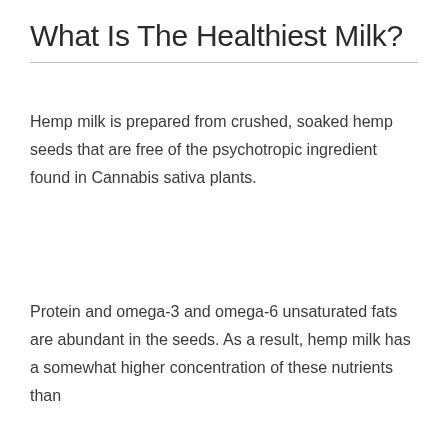What Is The Healthiest Milk?
Hemp milk is prepared from crushed, soaked hemp seeds that are free of the psychotropic ingredient found in Cannabis sativa plants.
Protein and omega-3 and omega-6 unsaturated fats are abundant in the seeds. As a result, hemp milk has a somewhat higher concentration of these nutrients than